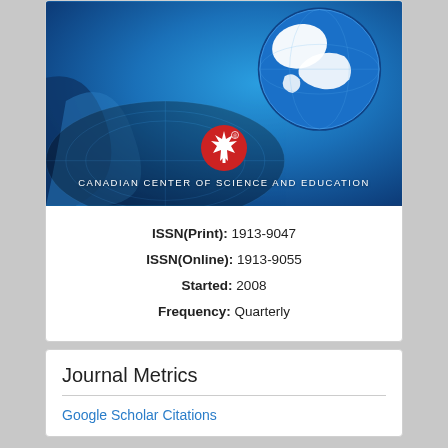[Figure (illustration): Canadian Center of Science and Education journal cover with blue gradient background, globe illustration in top-right corner, red maple leaf logo, and organization name in white text]
ISSN(Print): 1913-9047
ISSN(Online): 1913-9055
Started: 2008
Frequency: Quarterly
Journal Metrics
Google Scholar Citations